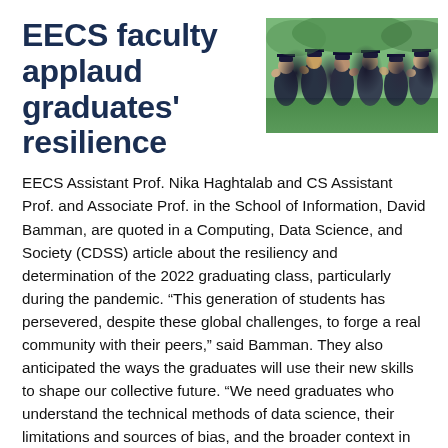EECS faculty applaud graduates' resilience
[Figure (photo): Photograph of graduating students in caps and gowns, applauding outdoors on a green lawn.]
EECS Assistant Prof. Nika Haghtalab and CS Assistant Prof. and Associate Prof. in the School of Information, David Bamman, are quoted in a Computing, Data Science, and Society (CDSS) article about the resiliency and determination of the 2022 graduating class, particularly during the pandemic. “This generation of students has persevered, despite these global challenges, to forge a real community with their peers,” said Bamman. They also anticipated the ways the graduates will use their new skills to shape our collective future. “We need graduates who understand the technical methods of data science, their limitations and sources of bias, and the broader context in which information is used to drive policy, inform decision-making, and shape opinion,” Bamman said. Haghtalab noted that “this is a great time to enter the